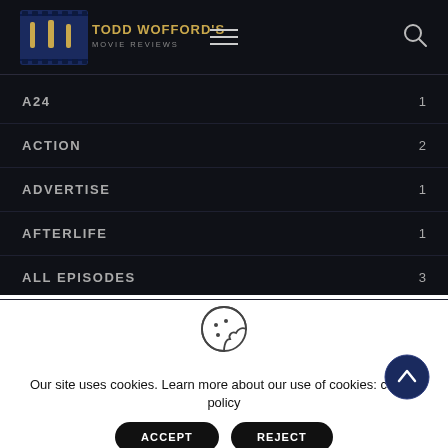Todd Wofford's Movie Reviews
A24  1
ACTION  2
ADVERTISE  1
AFTERLIFE  1
ALL EPISODES  3
Our site uses cookies. Learn more about our use of cookies: cookie policy
ACCEPT  REJECT